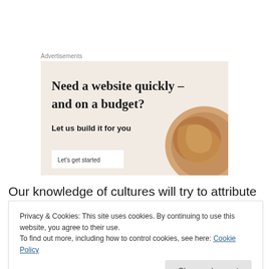Advertisements
[Figure (illustration): Advertisement banner with beige background showing text 'Need a website quickly – and on a budget? Let us build it for you' with a 'Let's get started' button and a decorative image of a croissant on the right side.]
Our knowledge of cultures will try to attribute the above
Privacy & Cookies: This site uses cookies. By continuing to use this website, you agree to their use. To find out more, including how to control cookies, see here: Cookie Policy
Next time you are in an environment your brain